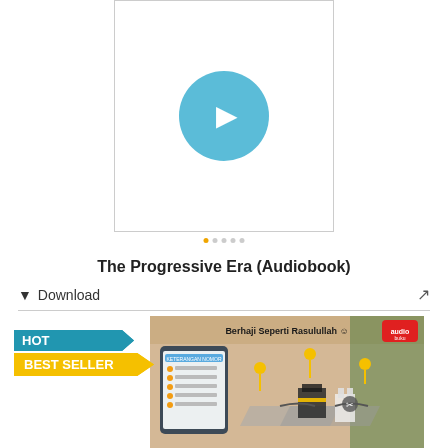[Figure (other): Audio player box with a blue circle play button in the center, shown inside a bordered rectangle]
[Figure (other): Row of five small dots, one gold and four grey, representing pagination]
The Progressive Era (Audiobook)
⬇ Download
[Figure (infographic): Book cover thumbnail labeled 'Berhaji Seperti Rasulullah' showing a Hajj infographic with a mobile app interface and isometric illustration of Mecca sites, with a HOT BEST SELLER badge overlay]